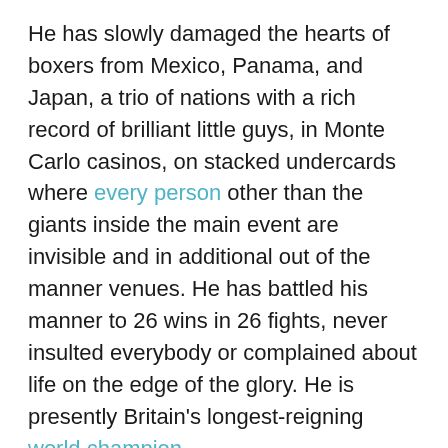He has slowly damaged the hearts of boxers from Mexico, Panama, and Japan, a trio of nations with a rich record of brilliant little guys, in Monte Carlo casinos, on stacked undercards where every person other than the giants inside the main event are invisible and in additional out of the manner venues. He has battled his manner to 26 wins in 26 fights, never insulted everybody or complained about life on the edge of the glory. He is presently Britain's longest-reigning world champion.
In the 70s, 80s, and 90s, some of British boxing's most notable names, most iconic figures, and wealthiest boxers biffed and bashed their way to international titles, attracting attention with every fight. The public knew their names, overlooked their flaws, and now considered only the disjointed glory of such a lot of spectacularly short intervals as world champion. They get added nightly as world